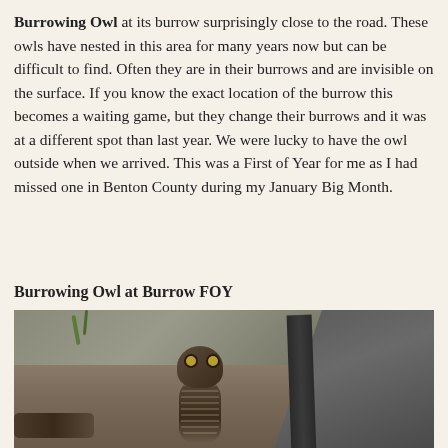Burrowing Owl at its burrow surprisingly close to the road. These owls have nested in this area for many years now but can be difficult to find. Often they are in their burrows and are invisible on the surface. If you know the exact location of the burrow this becomes a waiting game, but they change their burrows and it was at a different spot than last year. We were lucky to have the owl outside when we arrived. This was a First of Year for me as I had missed one in Benton County during my January Big Month.
Burrowing Owl at Burrow FOY
[Figure (photo): A Burrowing Owl standing at its burrow near a road. The owl faces the camera with yellow eyes, showing its spotted brown and white plumage. It is standing on bare dirt/sandy ground next to what appears to be a ditch or road edge, with the grey asphalt road visible in the upper right. Some sparse vegetation is visible in the background.]